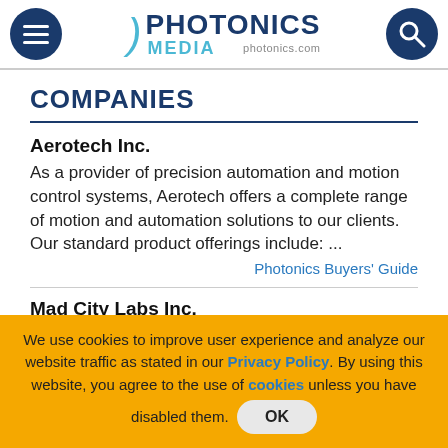Photonics Media photonics.com
COMPANIES
Aerotech Inc.
As a provider of precision automation and motion control systems, Aerotech offers a complete range of motion and automation solutions to our clients. Our standard product offerings include: ...
Photonics Buyers' Guide
Mad City Labs Inc.
Mad City Labs, Inc. is a leading manufacturer of piezo nanopositioning systems and instrumentation capable
We use cookies to improve user experience and analyze our website traffic as stated in our Privacy Policy. By using this website, you agree to the use of cookies unless you have disabled them. OK